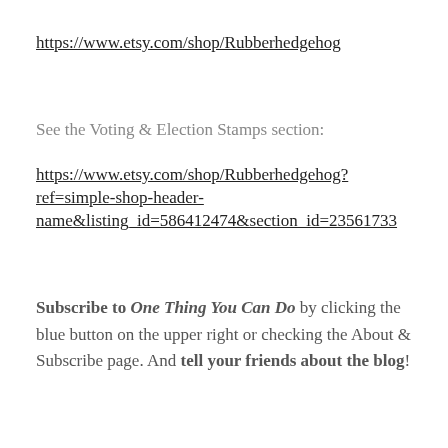https://www.etsy.com/shop/Rubberhedgehog
See the Voting & Election Stamps section:
https://www.etsy.com/shop/Rubberhedgehog?ref=simple-shop-header-name&listing_id=586412474&section_id=23561733
Subscribe to One Thing You Can Do by clicking the blue button on the upper right or checking the About & Subscribe page. And tell your friends about the blog!